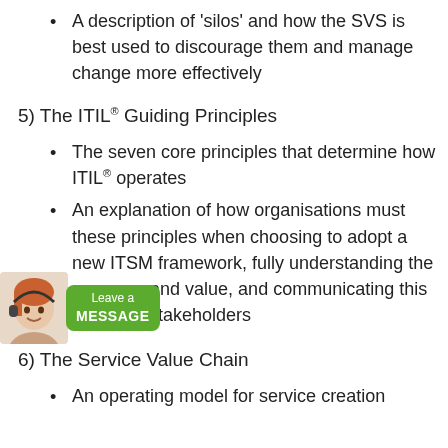A description of 'silos' and how the SVS is best used to discourage them and manage change more effectively
5) The ITIL® Guiding Principles
The seven core principles that determine how ITIL® operates
An explanation of how organisations must adopt these principles when choosing to adopt a new ITSM framework, fully understanding the message and value, and communicating this with their stakeholders
6) The Service Value Chain
An operating model for service creation
[Figure (photo): Customer service representative avatar with headset and a green 'Leave a MESSAGE' button overlay badge]